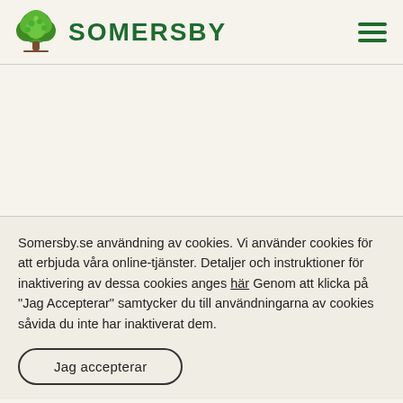[Figure (logo): Somersby brand logo: green illustrated tree on the left, bold green uppercase text 'SOMERSBY' on the right]
[Figure (other): Hamburger menu icon (three horizontal green lines) in the top right corner]
Somersby.se användning av cookies. Vi använder cookies för att erbjuda våra online-tjänster. Detaljer och instruktioner för inaktivering av dessa cookies anges här Genom att klicka på "Jag Accepterar" samtycker du till användningarna av cookies såvida du inte har inaktiverat dem.
Jag accepterar